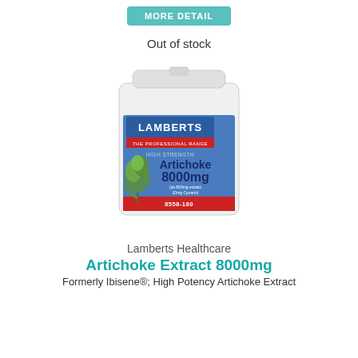[Figure (other): Teal/cyan button labeled MORE DETAIL at the top of the page]
Out of stock
[Figure (photo): Product photo of a white cylindrical supplement bottle from Lamberts Healthcare. Label shows: LAMBERTS THE PROFESSIONAL RANGE, HIGH STRENGTH, Artichoke 8000mg, (as 800mg extract 10mg Cynarin), FOOD SUPPLEMENT 180 Tablets, 8558-180. An artichoke illustration appears on the left side of the label.]
Lamberts Healthcare
Artichoke Extract 8000mg
Formerly Ibisene®; High Potency Artichoke Extract